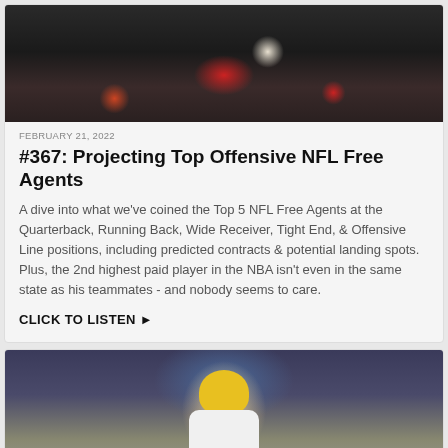[Figure (photo): Dark crowd/stadium photo showing legs and feet of players and spectators from below]
FEBRUARY 21, 2022
#367: Projecting Top Offensive NFL Free Agents
A dive into what we've coined the Top 5 NFL Free Agents at the Quarterback, Running Back, Wide Receiver, Tight End, & Offensive Line positions, including predicted contracts & potential landing spots. Plus, the 2nd highest paid player in the NBA isn't even in the same state as his teammates - and nobody seems to care.
CLICK TO LISTEN ▶
[Figure (photo): Michigan football player wearing yellow helmet and white jersey number 97, crowd visible in background]